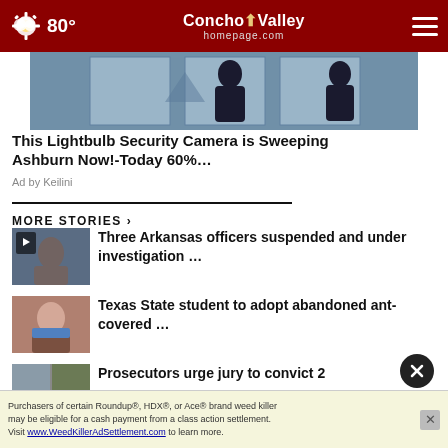80° Concho Valley homepage.com
[Figure (screenshot): Dark room scene with silhouettes, advertisement image for lightbulb security camera]
This Lightbulb Security Camera is Sweeping Ashburn Now!-Today 60%…
Ad by Keilini
MORE STORIES ›
[Figure (screenshot): Video thumbnail of person, Three Arkansas officers story]
Three Arkansas officers suspended and under investigation …
[Figure (photo): Child with blue scarf smiling]
Texas State student to adopt abandoned ant-covered …
[Figure (photo): Two person mugshot photos side by side with yellow flowers]
Prosecutors urge jury to convict 2
[Figure (screenshot): Bottom banner ad: Roundup, HDX, Ace brand weed killer class action settlement advertisement]